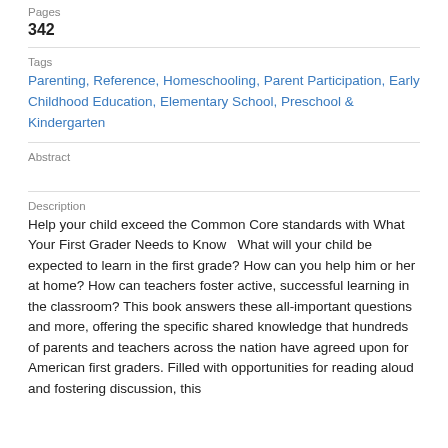Pages
342
Tags
Parenting, Reference, Homeschooling, Parent Participation, Early Childhood Education, Elementary School, Preschool & Kindergarten
Abstract
Description
Help your child exceed the Common Core standards with What Your First Grader Needs to Know   What will your child be expected to learn in the first grade? How can you help him or her at home? How can teachers foster active, successful learning in the classroom? This book answers these all-important questions and more, offering the specific shared knowledge that hundreds of parents and teachers across the nation have agreed upon for American first graders. Filled with opportunities for reading aloud and fostering discussion, this